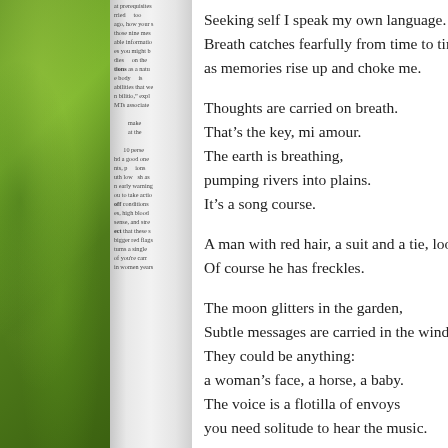[Figure (photo): Left page spread showing a green apple/fruit background on the left, and a white page spine with partially visible text in the middle]
Seeking self I speak my own language.
Breath catches fearfully from time to time,
as memories rise up and choke me.

Thoughts are carried on breath.
That's the key, mi amour.
The earth is breathing,
pumping rivers into plains.
It's a song course.

A man with red hair, a suit and a tie, loo...
Of course he has freckles.

The moon glitters in the garden,
Subtle messages are carried in the wind.
They could be anything:
a woman's face, a horse, a baby.
The voice is a flotilla of envoys
you need solitude to hear the music.

My story is just one among many,
but few have come to the end as have I,